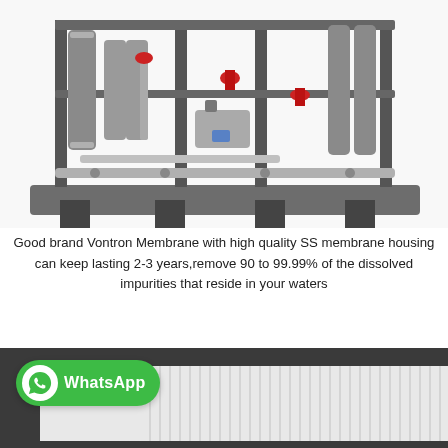[Figure (photo): Industrial reverse osmosis water filtration system mounted on a pallet frame, with stainless steel pipes, pressure vessels, and red valve handles]
Good brand Vontron Membrane with high quality SS membrane housing can keep lasting 2-3 years,remove 90 to 99.99% of the dissolved impurities that reside in your waters
[Figure (infographic): WhatsApp contact badge (green rounded rectangle with WhatsApp icon and 'WhatsApp' text) overlaid on a partial photo of a filtration membrane or filter element close-up]